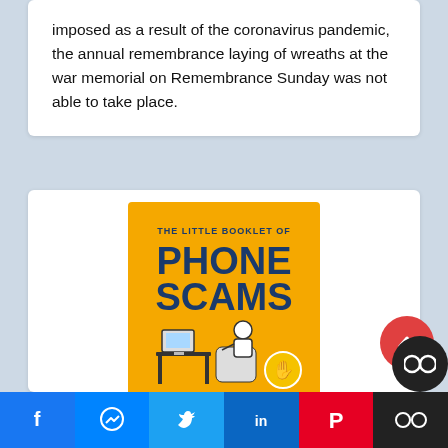imposed as a result of the coronavirus pandemic, the annual remembrance laying of wreaths at the war memorial on Remembrance Sunday was not able to take place.
[Figure (illustration): Cover of 'The Little Booklet of Phone Scams' — orange background with bold blue and dark text, illustration of a person at a desk with a computer and another seated in a chair, plus two police badge icons at the bottom]
Little Book of Phone Scams
Social share bar: Facebook, Messenger, Twitter, LinkedIn, Pinterest, Toggle